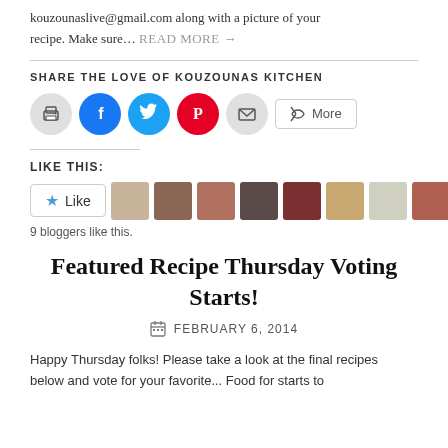kouzounaslive@gmail.com along with a picture of your recipe. Make sure… READ MORE →
SHARE THE LOVE OF KOUZOUNAS KITCHEN
[Figure (infographic): Social sharing buttons: print (grey circle), Facebook (blue circle), Twitter (cyan circle), Pinterest (red circle), email (grey circle), and a More button]
LIKE THIS:
[Figure (infographic): Like button with star icon, followed by 9 blogger avatar thumbnails]
9 bloggers like this.
Featured Recipe Thursday Voting Starts!
FEBRUARY 6, 2014
Happy Thursday folks! Please take a look at the final recipes below and vote for your favorite... Food for starts to